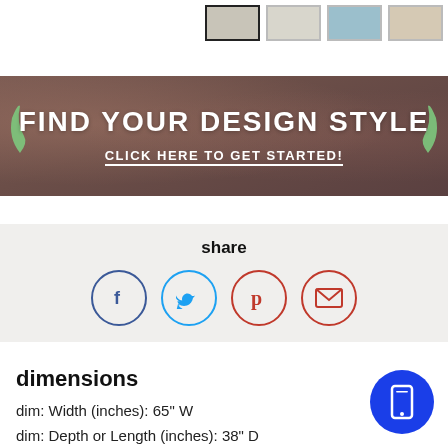[Figure (screenshot): Product thumbnail images row — four small swatches, first one selected with border]
[Figure (infographic): Promotional banner with dark reddish-brown background, green leaf decorations, text FIND YOUR DESIGN STYLE and CLICK HERE TO GET STARTED!]
share
[Figure (infographic): Social share icons: Facebook (blue circle with f), Twitter (light blue circle with bird), Pinterest (red circle with P), Email (red circle with envelope)]
dimensions
dim: Width (inches): 65" W
dim: Depth or Length (inches): 38" D
dim: Height (inches): 37" H